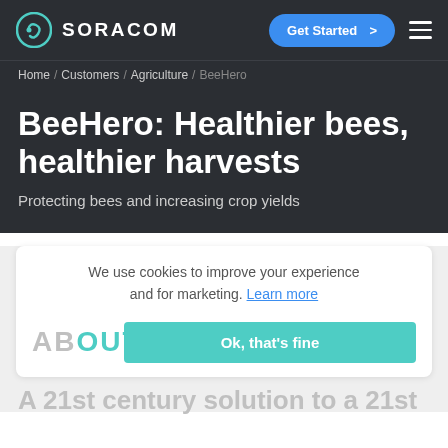SORACOM
Home / Customers / Agriculture / BeeHero
BeeHero: Healthier bees, healthier harvests
Protecting bees and increasing crop yields
We use cookies to improve your experience and for marketing. Learn more
Ok, that's fine
ABOUT
A 21st century solution to a 21st